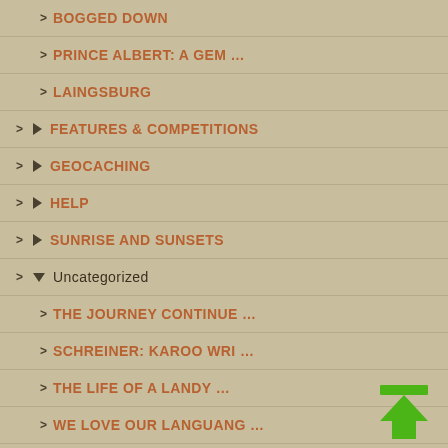> BOGGED DOWN
> PRINCE ALBERT: A GEM …
> LAINGSBURG
> ► FEATURES & COMPETITIONS
> ► GEOCACHING
> ► HELP
> ► SUNRISE AND SUNSETS
> ▼ Uncategorized
> THE JOURNEY CONTINUE …
> SCHREINER: KAROO WRI …
> THE LIFE OF A LANDY …
> WE LOVE OUR LANGUANG …
> AUTUMN
> AN EMOTIONAL DECISIO …